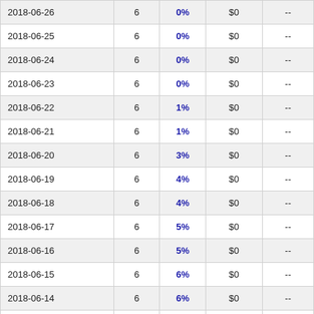| 2018-06-26 | 6 | 0% | $0 | -- |
| 2018-06-25 | 6 | 0% | $0 | -- |
| 2018-06-24 | 6 | 0% | $0 | -- |
| 2018-06-23 | 6 | 0% | $0 | -- |
| 2018-06-22 | 6 | 1% | $0 | -- |
| 2018-06-21 | 6 | 1% | $0 | -- |
| 2018-06-20 | 6 | 3% | $0 | -- |
| 2018-06-19 | 6 | 4% | $0 | -- |
| 2018-06-18 | 6 | 4% | $0 | -- |
| 2018-06-17 | 6 | 5% | $0 | -- |
| 2018-06-16 | 6 | 5% | $0 | -- |
| 2018-06-15 | 6 | 6% | $0 | -- |
| 2018-06-14 | 6 | 6% | $0 | -- |
| 2018-06-13 | 6 | 6% | $0 | -- |
| 2018-06-12 | 6 | 6% | $0 | -- |
| 2018-06-11 | 6 | 6% | $0 | -- |